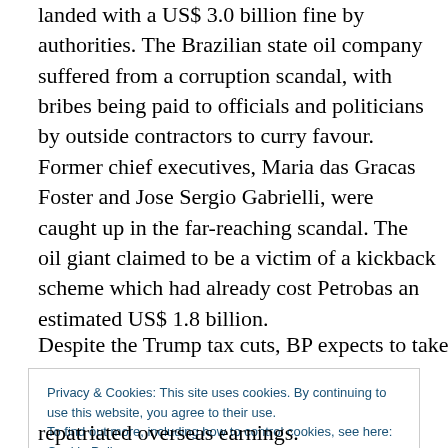landed with a US$ 3.0 billion fine by authorities. The Brazilian state oil company suffered from a corruption scandal, with bribes being paid to officials and politicians by outside contractors to curry favour. Former chief executives, Maria das Gracas Foster and Jose Sergio Gabrielli, were caught up in the far-reaching scandal. The oil giant claimed to be a victim of a kickback scheme which had already cost Petrobas an estimated US$ 1.8 billion.
Despite the Trump tax cuts, BP expects to take a US$ 1.5
Privacy & Cookies: This site uses cookies. By continuing to use this website, you agree to their use. To find out more, including how to control cookies, see here: Cookie Policy
Close and accept
repatriated overseas earnings.